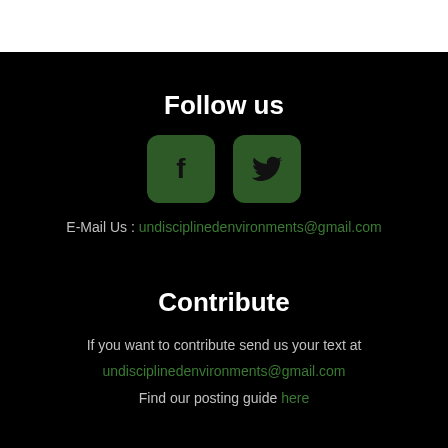Follow us
[Figure (illustration): Facebook and Twitter social media icons as green rounded square buttons]
E-Mail Us : undisciplinedenvironments@gmail.com
Contribute
If you want to contribute send us your text at undisciplinedenvironments@gmail.com Find our posting guide here
About Us